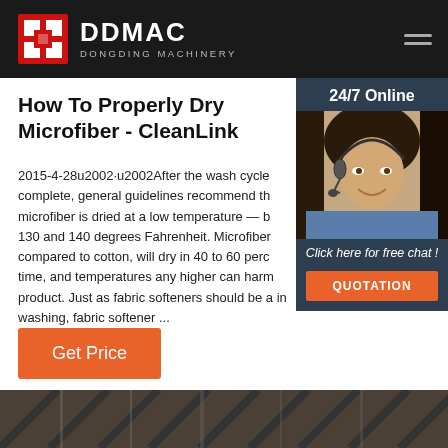DDMAC DONGDING MACHINERY
How To Properly Dry Microfiber - CleanLink
2015-4-28u2002·u2002After the wash cycle complete, general guidelines recommend th microfiber is dried at a low temperature — b 130 and 140 degrees Fahrenheit. Microfiber compared to cotton, will dry in 40 to 60 perc time, and temperatures any higher can harm product. Just as fabric softeners should be a in washing, fabric softener ...
[Figure (photo): Customer service agent photo with 24/7 Online banner and Click here for free chat / QUOTATION button overlay]
Get Price
[Figure (photo): Industrial machinery photo strip at bottom of page]